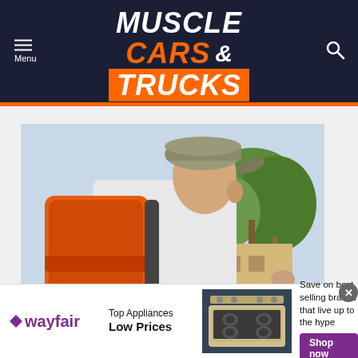Muscle Cars & Trucks
[Figure (photo): Person seen from behind wearing a khaki cap and an orange backpack labeled 'Relief', in an outdoor setting with palm trees and a building]
[Figure (photo): Wayfair advertisement banner: Top Appliances Low Prices, image of a stove/range, Save on best selling brands that live up to the hype, Shop now button]